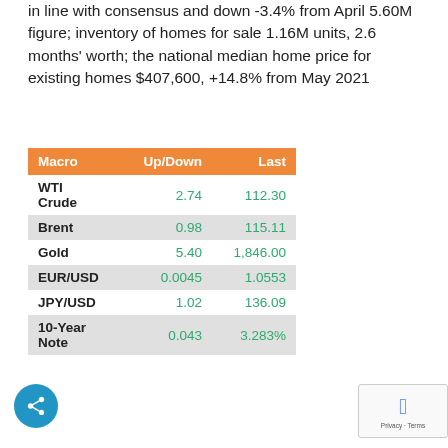in line with consensus and down -3.4% from April 5.60M figure; inventory of homes for sale 1.16M units, 2.6 months' worth; the national median home price for existing homes $407,600, +14.8% from May 2021
| Macro | Up/Down | Last |
| --- | --- | --- |
| WTI Crude | 2.74 | 112.30 |
| Brent | 0.98 | 115.11 |
| Gold | 5.40 | 1,846.00 |
| EUR/USD | 0.0045 | 1.0553 |
| JPY/USD | 1.02 | 136.09 |
| 10-Year Note | 0.043 | 3.283% |